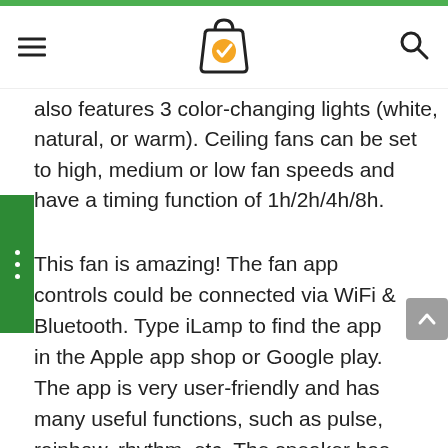[hamburger menu] [shopping bag logo with checkmark] [search icon]
also features 3 color-changing lights (white, natural, or warm). Ceiling fans can be set to high, medium or low fan speeds and have a timing function of 1h/2h/4h/8h.
This fan is amazing! The fan app controls could be connected via WiFi & Bluetooth. Type iLamp to find the app in the Apple app shop or Google play. The app is very user-friendly and has many useful functions, such as pulse, rainbow, rhythm, etc. The speaker has a great sound quality. It can be compared to a small Bluetooth speaker. t's much louder than I thought and it sounds even better. It's great to be able to adjust the brightness and color and to hear my music, and the colors will change